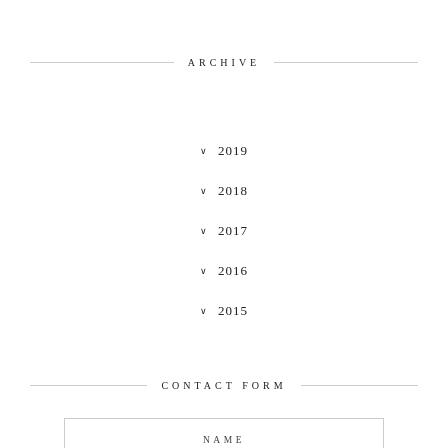ARCHIVE
❯ 2019
❯ 2018
❯ 2017
❯ 2016
❯ 2015
CONTACT FORM
NAME
EMAIL
MESSAGE